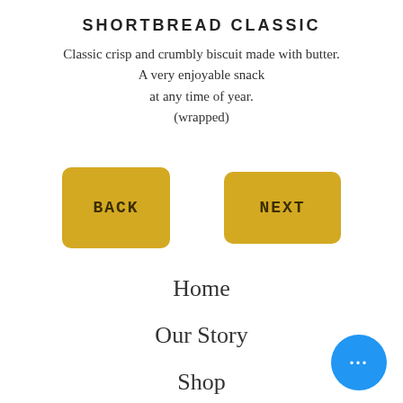SHORTBREAD CLASSIC
Classic crisp and crumbly biscuit made with butter.
A very enjoyable snack
at any time of year.
(wrapped)
[Figure (other): Two yellow rounded rectangle buttons labeled BACK and NEXT]
Home
Our Story
Shop
Products
[Figure (other): Blue circular button with three dots (more options)]